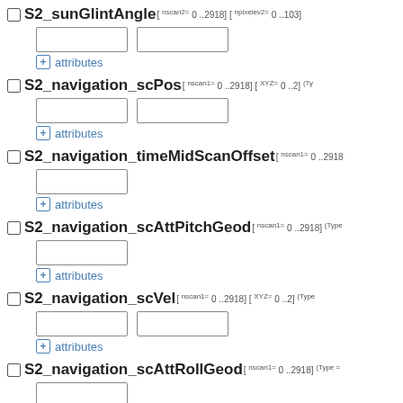S2_sunGlintAngle[ nscan2= 0 ..2918] [ npixelev2= 0 ..103]
S2_navigation_scPos[ nscan1= 0 ..2918] [ XYZ= 0 ..2]
S2_navigation_timeMidScanOffset[ nscan1= 0 ..2918
S2_navigation_scAttPitchGeod[ nscan1= 0 ..2918]
S2_navigation_scVel[ nscan1= 0 ..2918] [ XYZ= 0 ..2]
S2_navigation_scAttRollGeod[ nscan1= 0 ..2918]
S2_navigation_scAttRollGeoc[ nscan1= 0 ..2918]